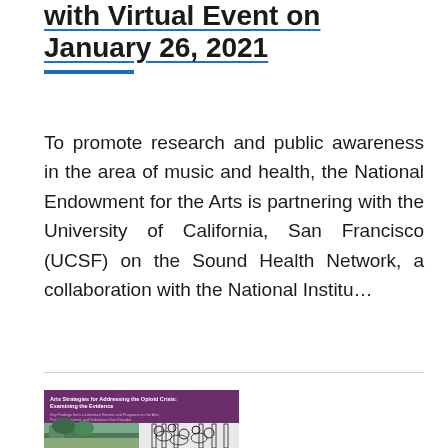with Virtual Event on January 26, 2021
To promote research and public awareness in the area of music and health, the National Endowment for the Arts is partnering with the University of California, San Francisco (UCSF) on the Sound Health Network, a collaboration with the National Institu...
[Figure (photo): Book cover for 'Arts Strategies for Addressing the Opioid Crisis: Examining the Evidence', featuring a purple/maroon cover with title text and two images at the bottom showing a garden/porch scene and an illustrated mural with decorative patterns.]